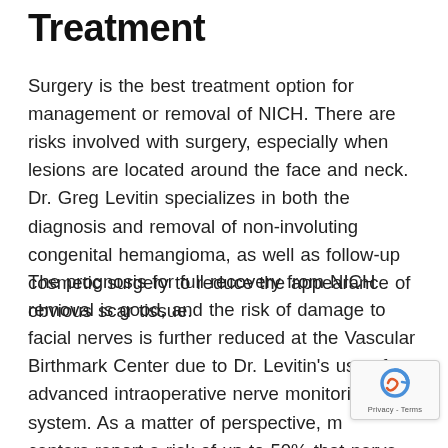Treatment
Surgery is the best treatment option for management or removal of NICH. There are risks involved with surgery, especially when lesions are located around the face and neck. Dr. Greg Levitin specializes in both the diagnosis and removal of non-involuting congenital hemangioma, as well as follow-up cosmetic surgery to reduce the appearance of obvious scar tissue.
The prognosis for full recovery from NICH removal is good, and the risk of damage to facial nerves is further reduced at the Vascular Birthmark Center due to Dr. Levitin's use of an advanced intraoperative nerve monitoring system. As a matter of perspective, many centers report a risk of up to 50% that nerve damage may occur, whereas Dr. Greg Levitin's procedure results